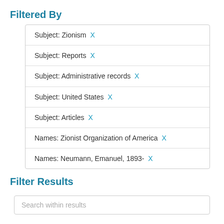Filtered By
Subject: Zionism X
Subject: Reports X
Subject: Administrative records X
Subject: United States X
Subject: Articles X
Names: Zionist Organization of America X
Names: Neumann, Emanuel, 1893- X
Filter Results
Search within results